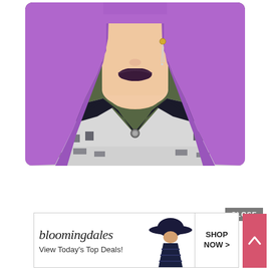[Figure (photo): Close-up portrait of a person with bright purple/violet hair, dark plum lipstick, dangling crystal earring, wearing a black and white houndstooth/tweed patterned jacket with dark trim and a round brooch at the collar.]
[Figure (screenshot): A CLOSE button (grey rectangle with white text 'CLOSE') above a Bloomingdale's advertisement banner. The ad shows the Bloomingdale's logo in italic font, tagline 'View Today's Top Deals!', a model wearing a dark wide-brim hat, and a 'SHOP NOW >' button. A pink scroll-to-top button is on the right.]